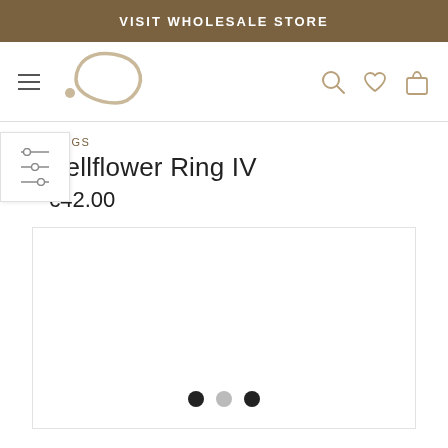VISIT WHOLESALE STORE
[Figure (logo): Brand logo: abstract teardrop/leaf shape in taupe/beige with dot]
RINGS
Bellflower Ring IV
€42.00
[Figure (photo): Product image area (blank/loading) with three navigation dots at bottom: black, gray, black]